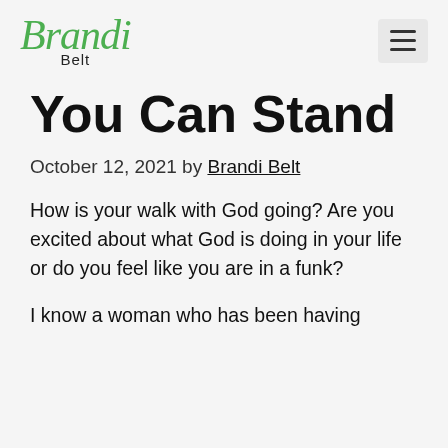Brandi Belt
You Can Stand
October 12, 2021 by Brandi Belt
How is your walk with God going? Are you excited about what God is doing in your life or do you feel like you are in a funk?
I know a woman who has been having